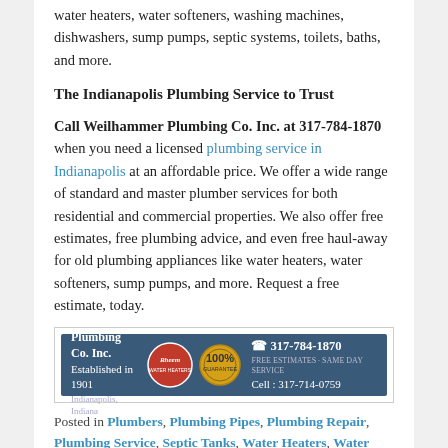water heaters, water softeners, washing machines, dishwashers, sump pumps, septic systems, toilets, baths, and more.
The Indianapolis Plumbing Service to Trust
Call Weilhammer Plumbing Co. Inc. at 317-784-1870 when you need a licensed plumbing service in Indianapolis at an affordable price. We offer a wide range of standard and master plumber services for both residential and commercial properties. We also offer free estimates, free plumbing advice, and even free haul-away for old plumbing appliances like water heaters, water softeners, sump pumps, and more. Request a free estimate, today.
[Figure (infographic): Weilhammer Plumbing Co. Inc. banner ad showing company name, Established in 1901, Rheem logo, 100% guarantee seal, phone 317-784-1870, Cell: 317-714-0759]
Posted in Plumbers, Plumbing Pipes, Plumbing Repair, Plumbing Service, Septic Tanks, Water Heaters, Water Leaks, Water Softeners | Tagged black mold remediation,